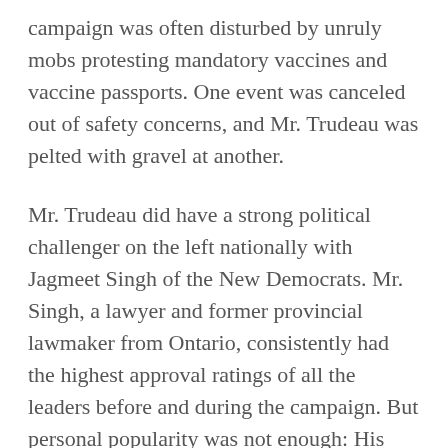campaign was often disturbed by unruly mobs protesting mandatory vaccines and vaccine passports. One event was canceled out of safety concerns, and Mr. Trudeau was pelted with gravel at another.
Mr. Trudeau did have a strong political challenger on the left nationally with Jagmeet Singh of the New Democrats. Mr. Singh, a lawyer and former provincial lawmaker from Ontario, consistently had the highest approval ratings of all the leaders before and during the campaign. But personal popularity was not enough: His party gained three seats but won only a total of 27.
As before the election, the New Democrats are likely to be Mr. Trudeau's primary source of support in Parliament.
View Source